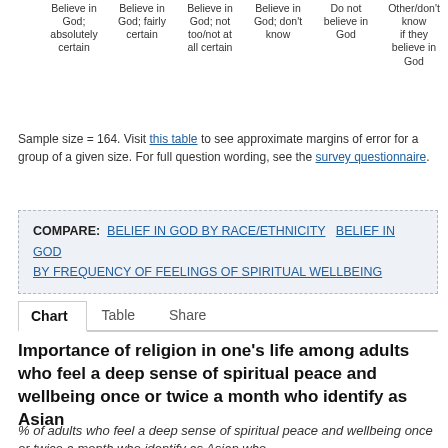Believe in God; absolutely certain | Believe in God; fairly certain | Believe in God; not too/not at all certain | Believe in God; don't know | Do not believe in God | Other/don't know if they believe in God
Sample size = 164. Visit this table to see approximate margins of error for a group of a given size. For full question wording, see the survey questionnaire.
COMPARE: BELIEF IN GOD BY RACE/ETHNICITY   BELIEF IN GOD BY FREQUENCY OF FEELINGS OF SPIRITUAL WELLBEING
Chart   Table   Share
Importance of religion in one's life among adults who feel a deep sense of spiritual peace and wellbeing once or twice a month who identify as Asian
% of adults who feel a deep sense of spiritual peace and wellbeing once or twice a month who identify as Asian who...